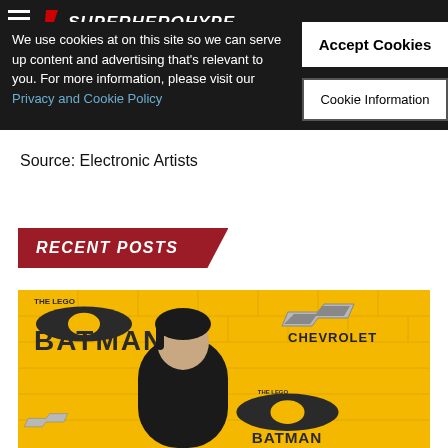SUPERHEROHYPE
We use cookies at on this site so we can serve up content and advertising that's relevant to you. For more information, please visit our Privacy and Cookie Policy
Accept Cookies
Cookie Information
for all current and next generation platforms, handhelds, and PCs.
Source: Electronic Artists
RECENT POSTS
[Figure (photo): Person standing in front of The Lego Batman Movie branded yellow wall with Chevrolet logo]